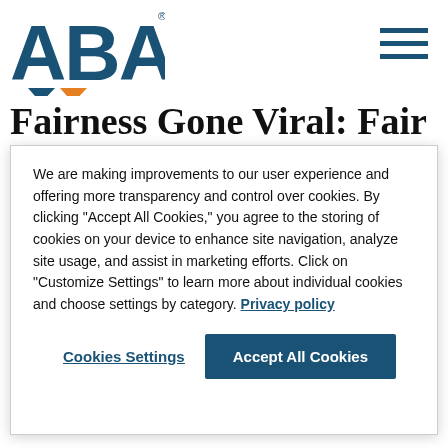ABA logo and navigation
Fairness Gone Viral: Fair Lending Considerations for Financial Institutions Amid
We are making improvements to our user experience and offering more transparency and control over cookies. By clicking “Accept All Cookies,” you agree to the storing of cookies on your device to enhance site navigation, analyze site usage, and assist in marketing efforts. Click on "Customize Settings" to learn more about individual cookies and choose settings by category. Privacy policy
Cookies Settings | Accept All Cookies